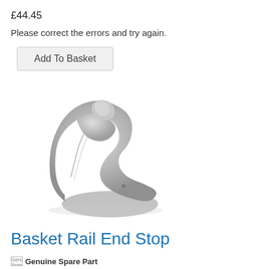£44.45
Please correct the errors and try again.
Add To Basket
[Figure (photo): A grey plastic basket rail end stop component, photographed on a white background. The part is a curved, hook-shaped plastic piece in light grey color.]
Basket Rail End Stop
Genuine Spare Part  Genuine Spare Part